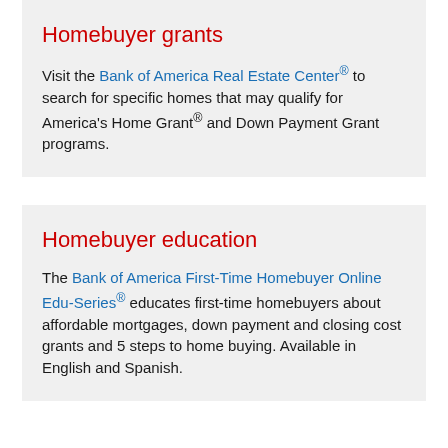Homebuyer grants
Visit the Bank of America Real Estate Center® to search for specific homes that may qualify for America's Home Grant® and Down Payment Grant programs.
Homebuyer education
The Bank of America First-Time Homebuyer Online Edu-Series® educates first-time homebuyers about affordable mortgages, down payment and closing cost grants and 5 steps to home buying. Available in English and Spanish.